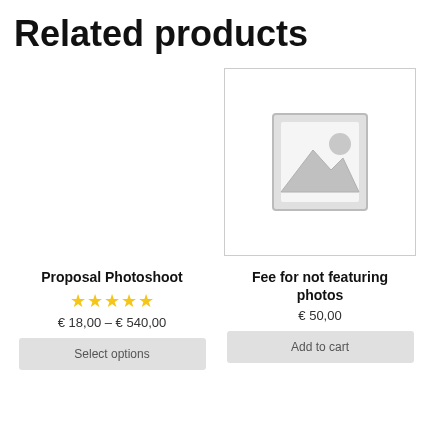Related products
[Figure (photo): Placeholder image for Proposal Photoshoot product (empty/no image)]
Proposal Photoshoot
★★★★★
€ 18,00 – € 540,00
Select options
[Figure (photo): Placeholder image (grey mountain/landscape icon) for Fee for not featuring photos product]
Fee for not featuring photos
€ 50,00
Add to cart